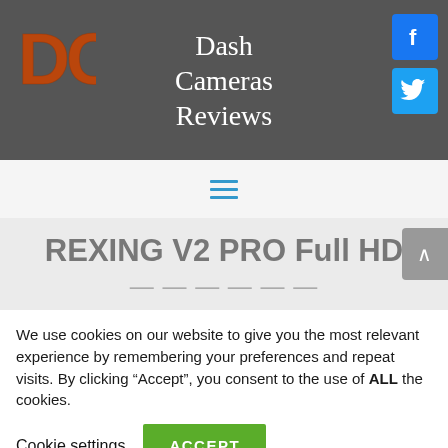Dash Cameras Reviews
[Figure (logo): DC logo in orange brick/grunge style letters]
[Figure (logo): Facebook icon - white f on blue background]
[Figure (logo): Twitter icon - white bird on blue background]
[Figure (other): Hamburger menu icon with three horizontal blue lines]
REXING V2 PRO Full HD
We use cookies on our website to give you the most relevant experience by remembering your preferences and repeat visits. By clicking “Accept”, you consent to the use of ALL the cookies.
Cookie settings  ACCEPT